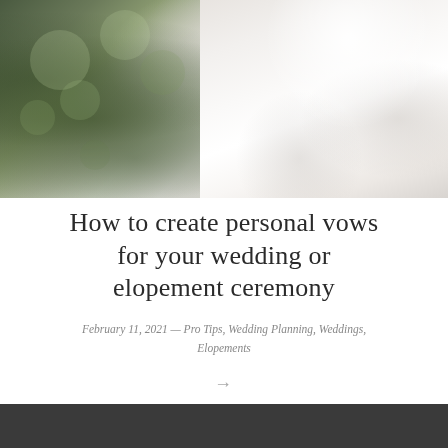[Figure (photo): Wedding couple photograph: left side shows green bokeh forest background, right side shows bride in white lace dress and groom in dark suit, cropped to show torso/hands area]
How to create personal vows for your wedding or elopement ceremony
February 11, 2021 — Pro Tips, Wedding Planning, Weddings, Elopements
→